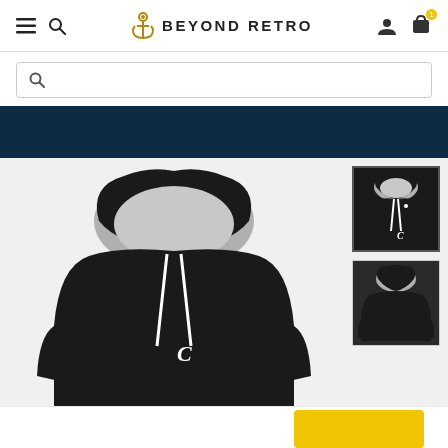Beyond Retro — navigation header with hamburger menu, search icon, logo, account icon, and cart icon
[Figure (screenshot): Search bar with magnifying glass icon, bordered input field]
[Figure (infographic): Navy/dark blue banner bar]
[Figure (photo): Black Champion hoodie with grey hood lining and white drawstring, main product image]
[Figure (photo): Thumbnail: Black Champion hoodie front view, selected (bordered)]
[Figure (photo): Thumbnail: Black Champion hoodie back view]
[Figure (other): Yellow button (add to cart or similar action button)]